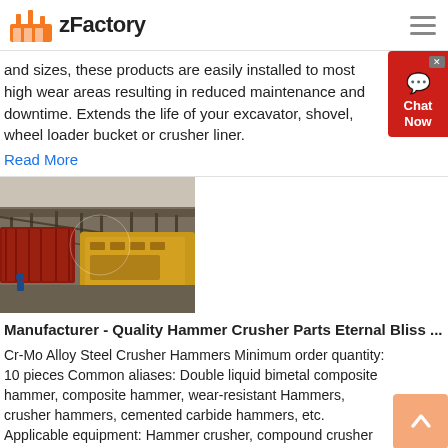zFactory
and sizes, these products are easily installed to most high wear areas resulting in reduced maintenance and downtime. Extends the life of your excavator, shovel, wheel loader bucket or crusher liner.
Read More
[Figure (photo): Industrial hammer crusher machine installed outdoors with metal framework and yellow body]
Manufacturer - Quality Hammer Crusher Parts Eternal Bliss ...
Cr-Mo Alloy Steel Crusher Hammers Minimum order quantity: 10 pieces Common aliases: Double liquid bimetal composite hammer, composite hammer, wear-resistant Hammers, crusher hammers, cemented carbide hammers, etc. Applicable equipment: Hammer crusher, compound crusher
Read More